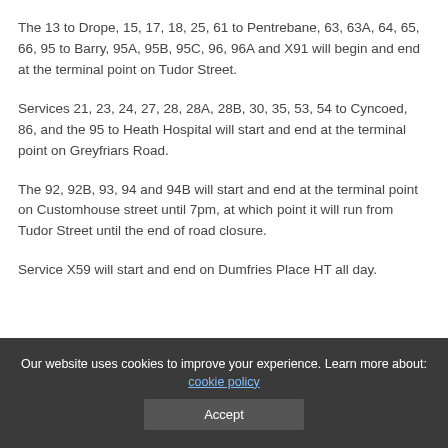The 13 to Drope, 15, 17, 18, 25, 61 to Pentrebane, 63, 63A, 64, 65, 66, 95 to Barry, 95A, 95B, 95C, 96, 96A and X91 will begin and end at the terminal point on Tudor Street.
Services 21, 23, 24, 27, 28, 28A, 28B, 30, 35, 53, 54 to Cyncoed, 86, and the 95 to Heath Hospital will start and end at the terminal point on Greyfriars Road.
The 92, 92B, 93, 94 and 94B will start and end at the terminal point on Customhouse street until 7pm, at which point it will run from Tudor Street until the end of road closure.
Service X59 will start and end on Dumfries Place HT all day.
Our website uses cookies to improve your experience. Learn more about: cookie policy  Accept